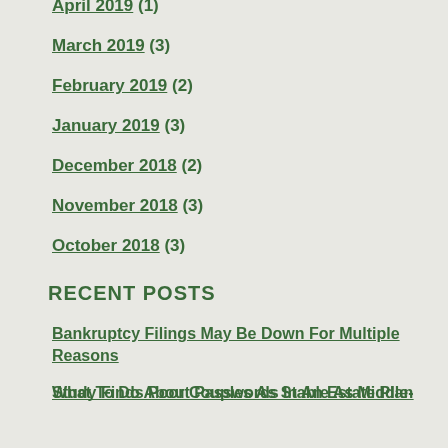April 2019 (1)
March 2019 (3)
February 2019 (2)
January 2019 (3)
December 2018 (2)
November 2018 (3)
October 2018 (3)
RECENT POSTS
Bankruptcy Filings May Be Down For Multiple Reasons
What To Do About Passwords In An Estate Plan
Study Finds Poor Couples As Stable As Middle-